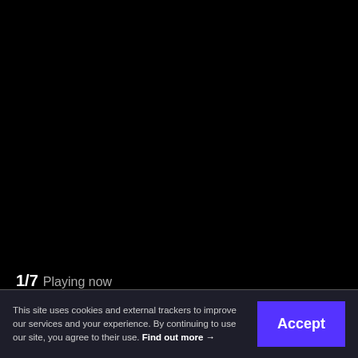[Figure (screenshot): Black video player area (no content visible)]
1/7 Playing now
Next Video →
This site uses cookies and external trackers to improve our services and your experience. By continuing to use our site, you agree to their use. Find out more →